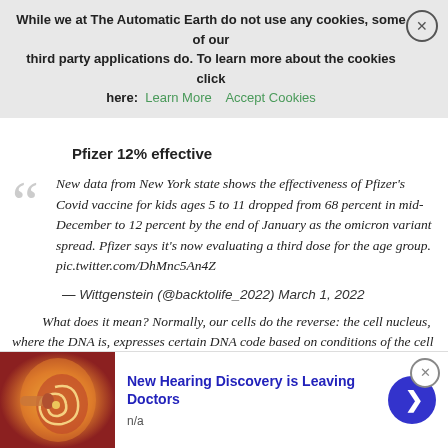transcribed into the DNA. It also explains that vaccine mRNA actually does travel to the liver as one of the preferred sites (and other sites we frankly are still learning and more)
While we at The Automatic Earth do not use any cookies, some of our third party applications do. To learn more about the cookies click here: Learn More   Accept Cookies
Pfizer 12% effective
New data from New York state shows the effectiveness of Pfizer’s Covid vaccine for kids ages 5 to 11 dropped from 68 percent in mid-December to 12 percent by the end of January as the omicron variant spread. Pfizer says it’s now evaluating a third dose for the age group. pic.twitter.com/DhMnc5An4Z
— Wittgenstein (@backtolife_2022) March 1, 2022
What does it mean? Normally, our cells do the reverse: the cell nucleus, where the DNA is, expresses certain DNA code based on conditions of the cell and produces natural, human messenger RNA. That messenger RNA travels out of the nucleus, where it is expressed into proteins needed for cell building. This is how growing organisms
[Figure (other): Advertisement banner: ear anatomy image on left, 'New Hearing Discovery is Leaving Doctors' text in blue, n/a subtext, blue arrow button on right, close X button top right]